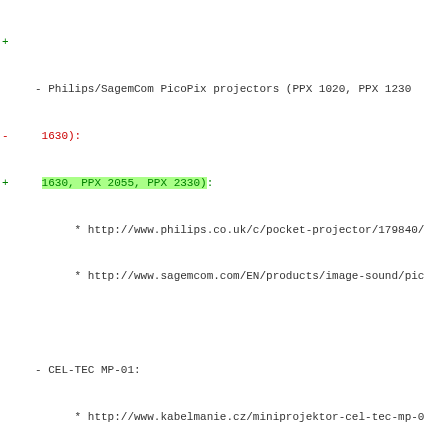diff/patch code view showing changes to a document file listing projector devices and testing instructions
+ Philips/SagemCom PicoPix projectors (PPX 1020, PPX 1230
- 1630):
+ 1630, PPX 2055, PPX 2330):
* http://www.philips.co.uk/c/pocket-projector/179840/
* http://www.sagemcom.com/EN/products/image-sound/pic
- CEL-TEC MP-01:
* http://www.kabelmanie.cz/miniprojektor-cel-tec-mp-0
+ - Top-Height/TEC PP700
+ * http://www.ishopiwin.com/en/appliances-electronics/
+ - Royaltek PJU-2100:
+ * http://www.royaltek.com/index.php/pju-2100-pico-pro
+ - Aiptek PocketCinema T25:
+ * http://www.aiptek.eu/index.php/en/products/pico-pro
- Other unbranded projectors:
* http://www.dealextreme.com/p/portable-home-office-m
@@ -69,3 +82,36 @@ Examples of devices based on AM7XXX are:
Maybe other devices reported as supporting "Display over US  Acer K330 or some Optoma projectors could be used with this  this needs still needs to be verified.
+== Testing libam7xxx on MS Windows
+All the needed files need to be in the same location:
+ - 'libusb-1.0.dll' from http://sourceforge.net/projects/l